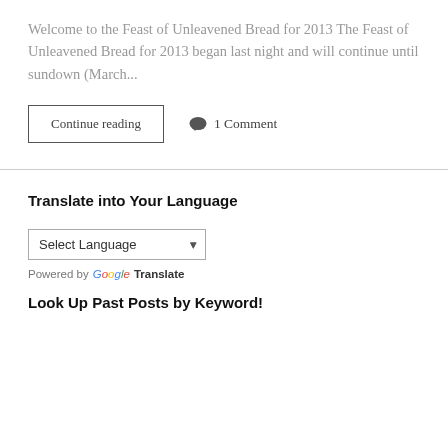Welcome to the Feast of Unleavened Bread for 2013 The Feast of Unleavened Bread for 2013 began last night and will continue until sundown (March...
Continue reading
1 Comment
Translate into Your Language
Select Language
Powered by Google Translate
Look Up Past Posts by Keyword!